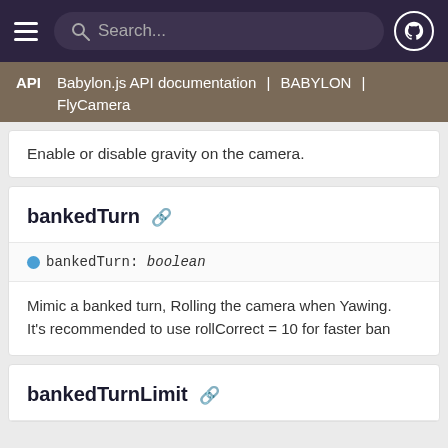Search... [navigation bar with hamburger menu and GitHub icon]
API | Babylon.js API documentation | BABYLON | FlyCamera
Enable or disable gravity on the camera.
bankedTurn
bankedTurn: boolean
Mimic a banked turn, Rolling the camera when Yawing. It's recommended to use rollCorrect = 10 for faster ban
bankedTurnLimit